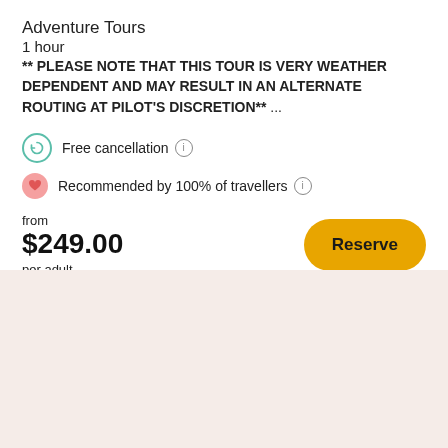Adventure Tours
1 hour
** PLEASE NOTE THAT THIS TOUR IS VERY WEATHER DEPENDENT AND MAY RESULT IN AN ALTERNATE ROUTING AT PILOT'S DISCRETION** ...
Free cancellation
Recommended by 100% of travellers
from $249.00 per adult
[Figure (other): Beige/light pink background section at the bottom of the page]